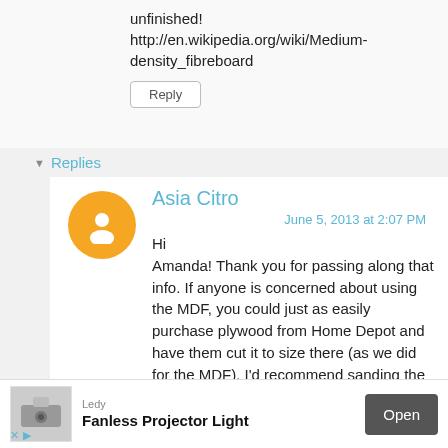unfinished! http://en.wikipedia.org/wiki/Medium-density_fibreboard
Reply
▾ Replies
Asia Citro
June 5, 2013 at 2:07 PM
Hi Amanda! Thank you for passing along that info. If anyone is concerned about using the MDF, you could just as easily purchase plywood from Home Depot and have them cut it to size there (as we did for the MDF). I'd recommend sanding the edges if you're using plywood - but everything should mount just
Ledy Fanless Projector Light Open